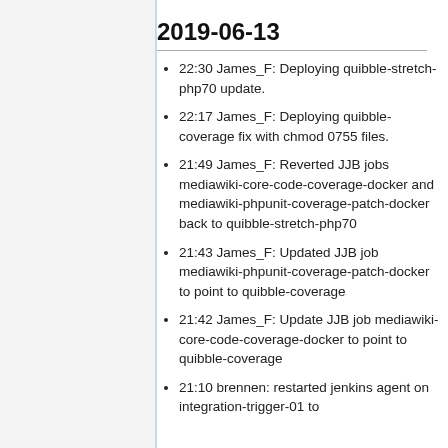2019-06-13
22:30 James_F: Deploying quibble-stretch-php70 update.
22:17 James_F: Deploying quibble-coverage fix with chmod 0755 files.
21:49 James_F: Reverted JJB jobs mediawiki-core-code-coverage-docker and mediawiki-phpunit-coverage-patch-docker back to quibble-stretch-php70
21:43 James_F: Updated JJB job mediawiki-phpunit-coverage-patch-docker to point to quibble-coverage
21:42 James_F: Update JJB job mediawiki-core-code-coverage-docker to point to quibble-coverage
21:10 brennen: restarted jenkins agent on integration-trigger-01 to